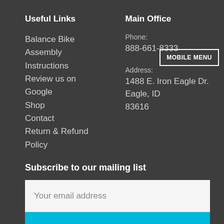Useful Links
Balance Bike Assembly Instructions
Review us on Google
Shop
Contact
Return & Refund Policy
Main Office
Phone:
888-661-8333
MOBILE MENU
Address:
1488 E. Iron Eagle Dr.
Eagle, ID
83616
Subscribe to our mailing list
Your email address